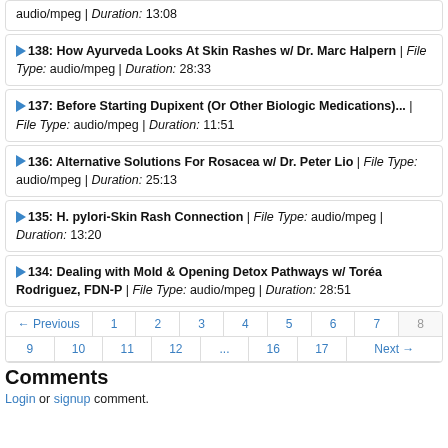audio/mpeg | Duration: 13:08
▶138: How Ayurveda Looks At Skin Rashes w/ Dr. Marc Halpern | File Type: audio/mpeg | Duration: 28:33
▶137: Before Starting Dupixent (Or Other Biologic Medications)... | File Type: audio/mpeg | Duration: 11:51
▶136: Alternative Solutions For Rosacea w/ Dr. Peter Lio | File Type: audio/mpeg | Duration: 25:13
▶135: H. pylori-Skin Rash Connection | File Type: audio/mpeg | Duration: 13:20
▶134: Dealing with Mold & Opening Detox Pathways w/ Toréa Rodriguez, FDN-P | File Type: audio/mpeg | Duration: 28:51
← Previous  1  2  3  4  5  6  7  8  9  10  11  12  ...  16  17  Next →
Comments
Login or signup comment.